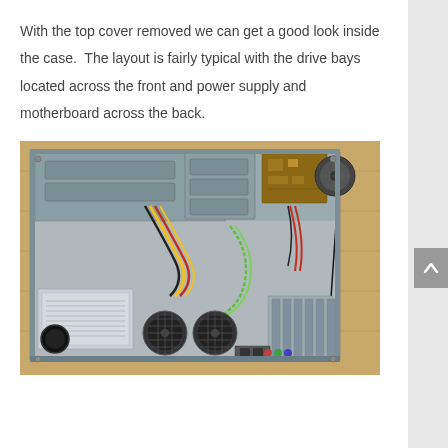With the top cover removed we can get a good look inside the case.  The layout is fairly typical with the drive bays located across the front and power supply and motherboard across the back.
[Figure (photo): Interior view of an open computer case (tower/desktop chassis) with the top cover removed, showing drive bays at the front, power supply unit with fan grills at the bottom-left, colorful wiring (yellow, red, black, green), a circuit board in the upper-right area, and expansion card slots along the right side. The case is sitting on a wooden surface.]